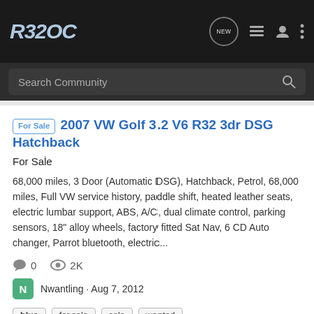R32OC
Search Community
For Sale 2007 VW Golf 3.2 V6 R32 3dr DSG Hatchback
For Sale
68,000 miles, 3 Door (Automatic DSG), Hatchback, Petrol, 68,000 miles, Full VW service history, paddle shift, heated leather seats, electric lumbar support, ABS, A/C, dual climate control, parking sensors, 18" alloy wheels, factory fitted Sat Nav, 6 CD Auto changer, Parrot bluetooth, electric...
0   2K
Nwantling · Aug 7, 2012
blue   for sale   sale   wanted